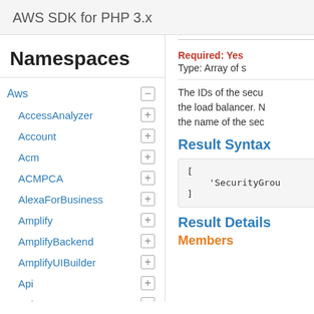AWS SDK for PHP 3.x
Namespaces
Aws
AccessAnalyzer
Account
Acm
ACMPCA
AlexaForBusiness
Amplify
AmplifyBackend
AmplifyUIBuilder
Api
ApiGateway
ApiGatewayManagementApi
Required: Yes
Type: Array of s
The IDs of the secu the load balancer. N the name of the sec
Result Syntax
[
    'SecurityGrou
]
Result Details
Members